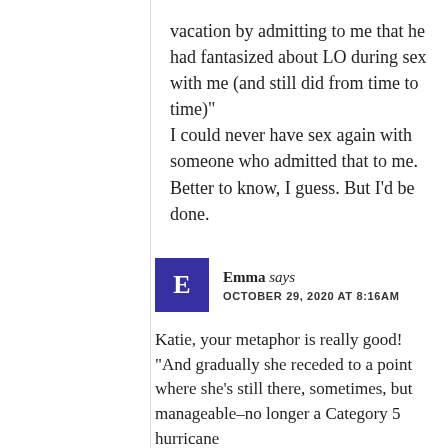vacation by admitting to me that he had fantasized about LO during sex with me (and still did from time to time)" I could never have sex again with someone who admitted that to me. Better to know, I guess. But I'd be done.
Emma says OCTOBER 29, 2020 AT 8:16AM
Katie, your metaphor is really good! “And gradually she receded to a point where she’s still there, sometimes, but manageable–no longer a Category 5 hurricane